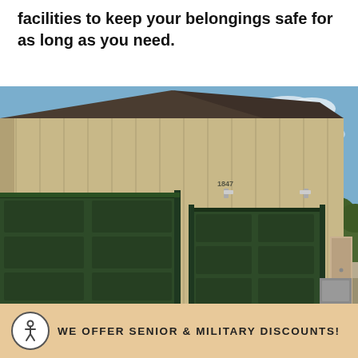facilities to keep your belongings safe for as long as you need.
[Figure (photo): Exterior photo of a storage facility building with tan/beige metal siding and dark green garage doors. Building number 1847 is visible. Blue sky and trees in background.]
WE OFFER SENIOR & MILITARY DISCOUNTS!